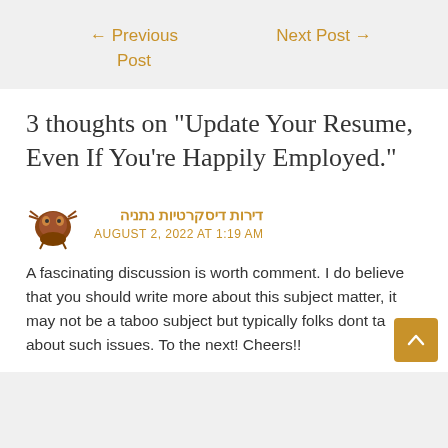← Previous Post    Next Post →
3 thoughts on “Update Your Resume, Even If You’re Happily Employed.”
דירות דיסקרטיות נתניה
AUGUST 2, 2022 AT 1:19 AM
A fascinating discussion is worth comment. I do believe that you should write more about this subject matter, it may not be a taboo subject but typically folks dont talk about such issues. To the next! Cheers!!